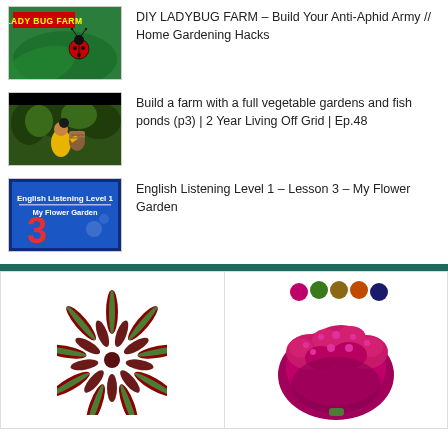DIY LADYBUG FARM – Build Your Anti-Aphid Army // Home Gardening Hacks
Build a farm with a full vegetable gardens and fish ponds (p3) | 2 Year Living Off Grid | Ep.48
English Listening Level 1 – Lesson 3 – My Flower Garden
[Figure (photo): Thumbnail of a star-shaped red-green plant (Aglaonema) on white background]
[Figure (photo): Thumbnail of a pink heather bush with small color swatches above on white background]